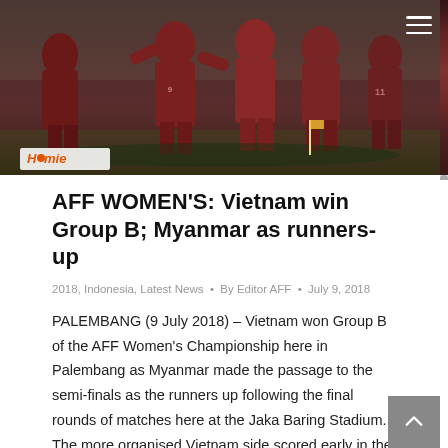[Figure (photo): Women's football players in dark red/maroon uniforms celebrating or huddling on a football pitch, with a stadium stand visible in the background. A sponsor banner reading 'Home' is visible at the bottom left.]
AFF WOMEN'S: Vietnam win Group B; Myanmar as runners-up
2018, Indonesia, Latest News • By Editor AFF • July 9, 2018
PALEMBANG (9 July 2018) – Vietnam won Group B of the AFF Women's Championship here in Palembang as Myanmar made the passage to the semi-finals as the runners up following the final rounds of matches here at the Jaka Baring Stadium. The more organised Vietnam side scored early in the first half before adding three